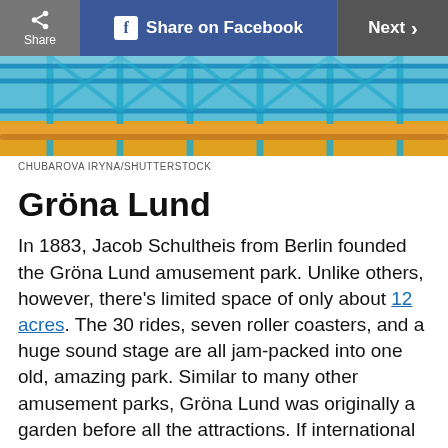Share | Share on Facebook | Next
[Figure (photo): Roller coaster blue steel structure against sky, photo credit Chubarova Iryna/Shutterstock]
CHUBAROVA IRYNA/SHUTTERSTOCK
Gröna Lund
In 1883, Jacob Schultheis from Berlin founded the Gröna Lund amusement park. Unlike others, however, there's limited space of only about 12 acres. The 30 rides, seven roller coasters, and a huge sound stage are all jam-packed into one old, amazing park. Similar to many other amusement parks, Gröna Lund was originally a garden before all the attractions. If international travel to visit these parks isn't on the agenda, you'll want to know the best amusement park in every state